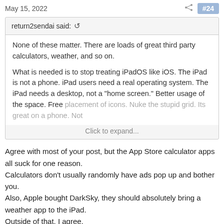May 15, 2022  #24
return2sendai said: ↺

None of these matter. There are loads of great third party calculators, weather, and so on.

What is needed is to stop treating iPadOS like iOS. The iPad is not a phone. iPad users need a real operating system. The iPad needs a desktop, not a "home screen." Better usage of the space. Free placement of icons. Nuke the stupid grid. Its great on a phone. Not

Click to expand...
Agree with most of your post, but the App Store calculator apps all suck for one reason.
Calculators don't usually randomly have ads pop up and bother you.
Also, Apple bought DarkSky, they should absolutely bring a weather app to the iPad.
Outside of that, I agree.
bondr006, Mr Todhunter, cr2 and 13 others